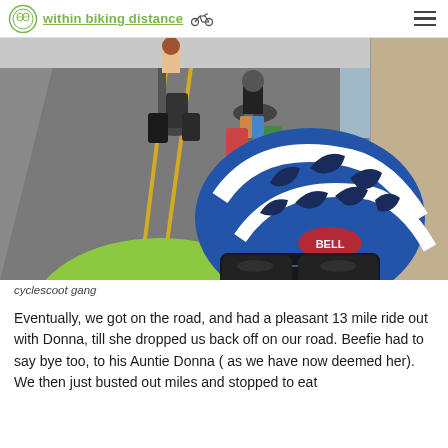within biking distance
[Figure (photo): Selfie photo taken from a cyclist's perspective showing a blue and white Bell helmet and sunglasses in the foreground, with two other cyclists riding loaded touring bikes on a road ahead. The rider in front wears colorful patterned shorts. Road has yellow center lines. Sidewalk visible on right.]
cyclescoot gang
Eventually, we got on the road, and had a pleasant 13 mile ride out with Donna, till she dropped us back off on our road. Beefie had to say bye too, to his Auntie Donna ( as we have now deemed her). We then just busted out miles and stopped to eat